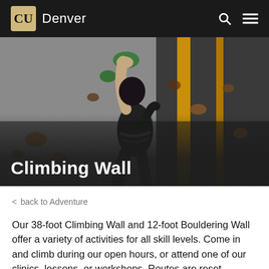CU Denver
[Figure (photo): Person climbing an indoor bouldering wall, reaching up to grip a green climbing hold. The wall has various colored holds. The image is taken from below/behind the climber.]
Climbing Wall
< back to Adventure
Our 38-foot Climbing Wall and 12-foot Bouldering Wall offer a variety of activities for all skill levels. Come in and climb during our open hours, or attend one of our clinics, lessons, or workshops. Routes are reset frequently, so